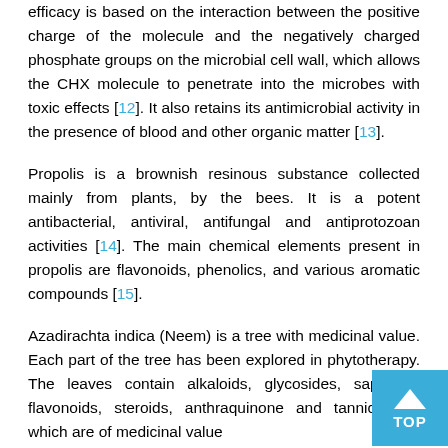efficacy is based on the interaction between the positive charge of the molecule and the negatively charged phosphate groups on the microbial cell wall, which allows the CHX molecule to penetrate into the microbes with toxic effects [12]. It also retains its antimicrobial activity in the presence of blood and other organic matter [13].
Propolis is a brownish resinous substance collected mainly from plants, by the bees. It is a potent antibacterial, antiviral, antifungal and antiprotozoan activities [14]. The main chemical elements present in propolis are flavonoids, phenolics, and various aromatic compounds [15].
Azadirachta indica (Neem) is a tree with medicinal value. Each part of the tree has been explored in phytotherapy. The leaves contain alkaloids, glycosides, saponins, flavonoids, steroids, anthraquinone and tannic acid, which are of medicinal value